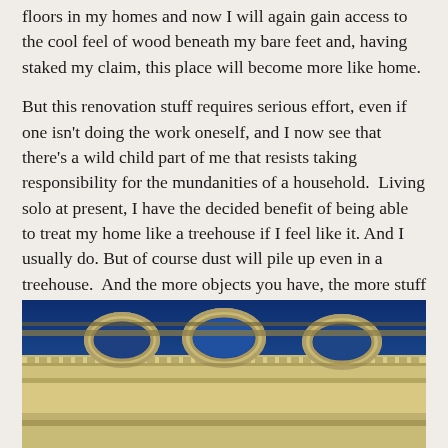floors in my homes and now I will again gain access to the cool feel of wood beneath my bare feet and, having staked my claim, this place will become more like home.
But this renovation stuff requires serious effort, even if one isn't doing the work oneself, and I now see that there's a wild child part of me that resists taking responsibility for the mundanities of a household.  Living solo at present, I have the decided benefit of being able to treat my home like a treehouse if I feel like it. And I usually do. But of course dust will pile up even in a treehouse.  And the more objects you have, the more stuff you have to dust. This is when I want to flee. House as sanctuary/house as dead weight.
[Figure (photo): Low-angle photograph of a classical building's ornate cornice and roofline with decorative moldings, oval dormer windows, and architectural detailing against a deep blue sky.]